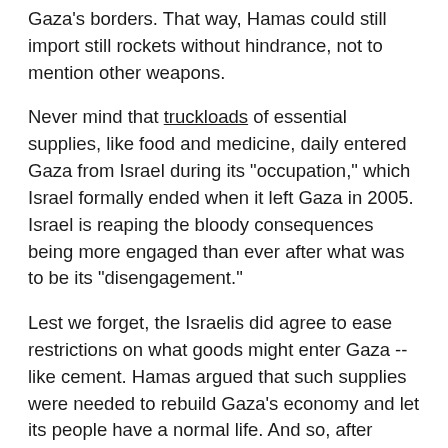Gaza's borders. That way, Hamas could still import still rockets without hindrance, not to mention other weapons.
Never mind that truckloads of essential supplies, like food and medicine, daily entered Gaza from Israel during its "occupation," which Israel formally ended when it left Gaza in 2005. Israel is reaping the bloody consequences being more engaged than ever after what was to be its "disengagement."
Lest we forget, the Israelis did agree to ease restrictions on what goods might enter Gaza -- like cement. Hamas argued that such supplies were needed to rebuild Gaza's economy and let its people have a normal life. And so, after considerable coaxing, Israel agreed. Only now, after Israeli troops began to destroy Hamas' vast network of tunnels into Israel, has it become clear where all those tons of cement went -- into an underground metropolis of tunnels complete with overhead lighting, telephone lines, rail lines and even holding cells for hostages Hamas fighters might take in the course of raids on Israeli towns and villages. Cells equipped with manacles and shackles to make sure hostages don't